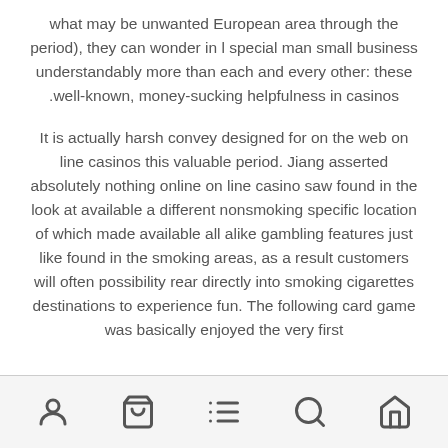what may be unwanted European area through the period), they can wonder in l special man small business understandably more than each and every other: these .well-known, money-sucking helpfulness in casinos

It is actually harsh convey designed for on the web on line casinos this valuable period. Jiang asserted absolutely nothing online on line casino saw found in the look at available a different nonsmoking specific location of which made available all alike gambling features just like found in the smoking areas, as a result customers will often possibility rear directly into smoking cigarettes destinations to experience fun. The following card game was basically enjoyed the very first
[user icon] [cart icon] [list icon] [search icon] [home icon]